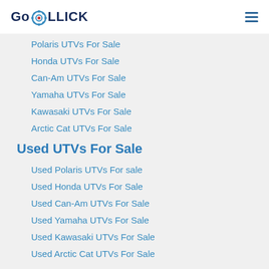GoROLLICK
Polaris UTVs For Sale
Honda UTVs For Sale
Can-Am UTVs For Sale
Yamaha UTVs For Sale
Kawasaki UTVs For Sale
Arctic Cat UTVs For Sale
Used UTVs For Sale
Used Polaris UTVs For sale
Used Honda UTVs For Sale
Used Can-Am UTVs For Sale
Used Yamaha UTVs For Sale
Used Kawasaki UTVs For Sale
Used Arctic Cat UTVs For Sale